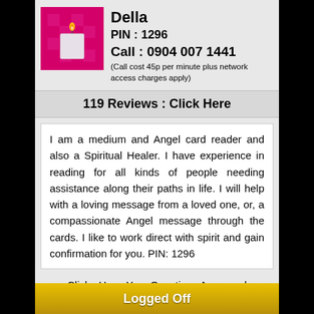[Figure (photo): Photo of a white candle on a pink/magenta checkered background]
Della
PIN : 1296
Call : 0904 007 1441
(Call cost 45p per minute plus network access charges apply)
119 Reviews : Click Here
I am a medium and Angel card reader and also a Spiritual Healer. I have experience in reading for all kinds of people needing assistance along their paths in life. I will help with a loving message from a loved one, or, a compassionate Angel message through the cards. I like to work direct with spirit and gain confirmation for you. PIN: 1296
Click : Have Your Questions Answered
[Figure (logo): Payment card logos: Visa Electron, VISA, Maestro, MasterCard]
Logged Off